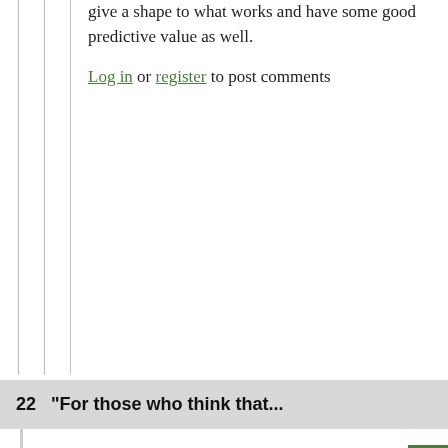give a shape to what works and have some good predictive value as well.
Log in or register to post comments
22  “For those who think that...
by theTDC // Oct 27, 2021 - 1:45am
“For those who think that running at the end of the game with a lead is the main reason for poor run DYAR and DVOA, look at this week’s stats:"